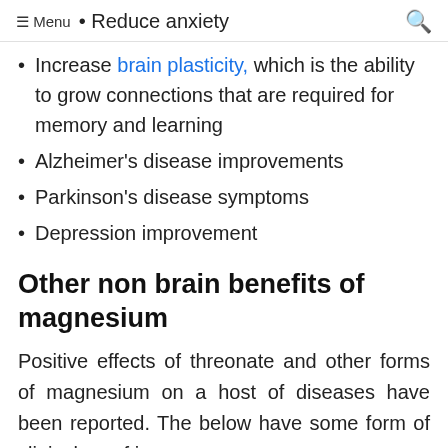Menu • Reduce anxiety
Increase brain plasticity, which is the ability to grow connections that are required for memory and learning
Alzheimer's disease improvements
Parkinson's disease symptoms
Depression improvement
Other non brain benefits of magnesium
Positive effects of threonate and other forms of magnesium on a host of diseases have been reported. The below have some form of clinical proof in